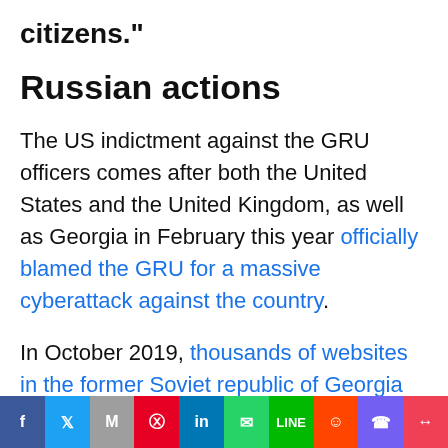citizens."
Russian actions
The US indictment against the GRU officers comes after both the United States and the United Kingdom, as well as Georgia in February this year officially blamed the GRU for a massive cyberattack against the country.
In October 2019, thousands of websites in the former Soviet republic of Georgia were knocked offline in a widespread cyberattack.
[Figure (infographic): Social media share bar with buttons for Facebook, Twitter, Gmail, Pinterest, LinkedIn, WhatsApp, LINE, Reddit, Viber, Pocket]